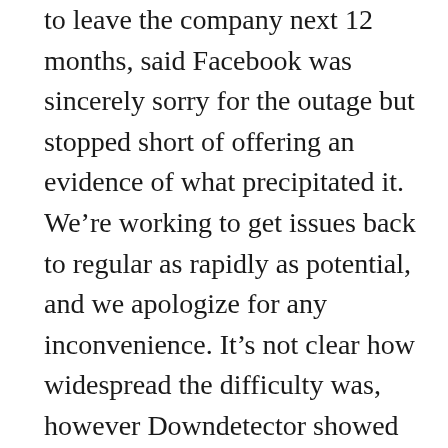to leave the company next 12 months, said Facebook was sincerely sorry for the outage but stopped short of offering an evidence of what precipitated it. We're working to get issues back to regular as rapidly as potential, and we apologize for any inconvenience. It's not clear how widespread the difficulty was, however Downdetector showed greater than 30,000 outage reports for Facebook alone at one level, with another 20,000 tied to Instagram. Per a tweet from the official Oculus Twitter account, the problem also affected the Oculus App, Store and web site. In accordance with The Canada Times, the outage took out Workplace, the company's internal communications platform. Additionally, workers reportedly couldn't receive exterior emails at the moment. Facebook powered providers proper now. It took Facebook a lot of the day to resolve the issue. Per